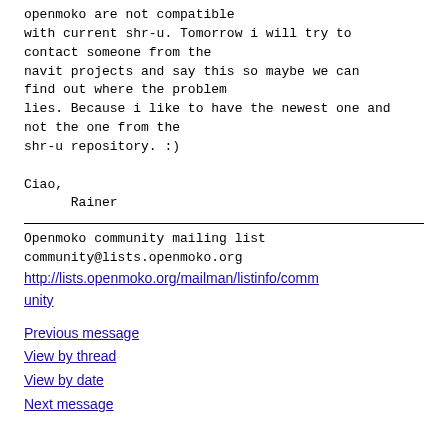openmoko are not compatible
with current shr-u. Tomorrow i will try to
contact someone from the
navit projects and say this so maybe we can
find out where the problem
lies. Because i like to have the newest one and
not the one from the
shr-u repository. :)

Ciao,
      Rainer
Openmoko community mailing list
community@lists.openmoko.org
http://lists.openmoko.org/mailman/listinfo/community
Previous message
View by thread
View by date
Next message